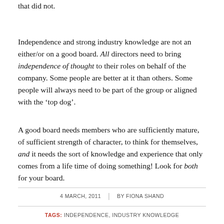that did not.
Independence and strong industry knowledge are not an either/or on a good board. All directors need to bring independence of thought to their roles on behalf of the company. Some people are better at it than others. Some people will always need to be part of the group or aligned with the ‘top dog’.
A good board needs members who are sufficiently mature, of sufficient strength of character, to think for themselves, and it needs the sort of knowledge and experience that only comes from a life time of doing something! Look for both for your board.
4 MARCH, 2011 | BY FIONA SHAND
TAGS: INDEPENDENCE, INDUSTRY KNOWLEDGE